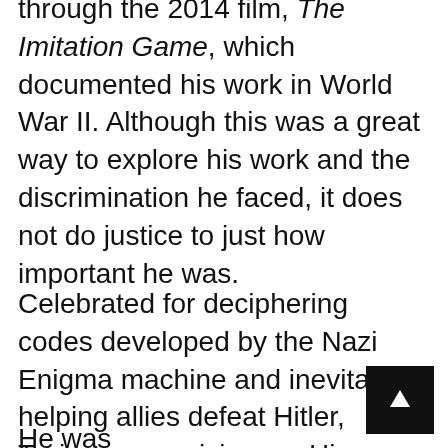through the 2014 film, The Imitation Game, which documented his work in World War II. Although this was a great way to explore his work and the discrimination he faced, it does not do justice to just how important he was.
Celebrated for deciphering codes developed by the Nazi Enigma machine and inevitably helping allies defeat Hitler, Turing was a visionary. His development of early computing lead to what we now know as 'artificial intelligence', not only this but he was a visionary and philosop...
He was...